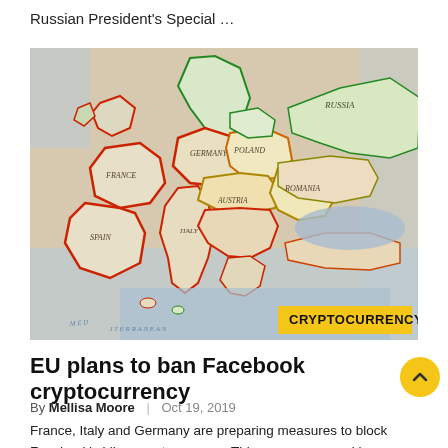Russian President's Special ...
[Figure (map): Vintage/antique political map of Europe showing countries with colored borders (red, green, orange outlines). Countries visible include France, Poland, Romania, and others. A yellow badge reads CRYPTOCURRENCY in the bottom right corner.]
EU plans to ban Facebook cryptocurrency
By Mellisa Moore  |  Oct 19, 2019
France, Italy and Germany are preparing measures to block Facebook's Libra cryptocurrency. This was announced by